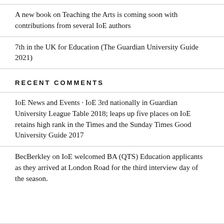A new book on Teaching the Arts is coming soon with contributions from several IoE authors
7th in the UK for Education (The Guardian University Guide 2021)
RECENT COMMENTS
IoE News and Events · IoE 3rd nationally in Guardian University League Table 2018; leaps up five places on IoE retains high rank in the Times and the Sunday Times Good University Guide 2017
BecBerkley on IoE welcomed BA (QTS) Education applicants as they arrived at London Road for the third interview day of the season.